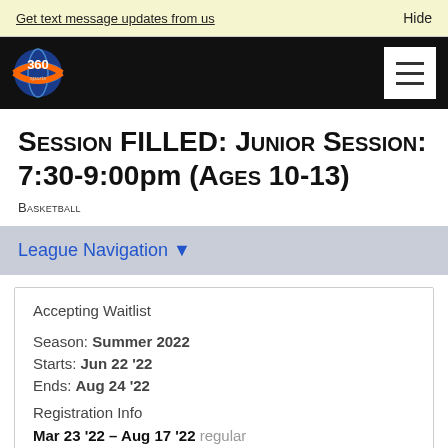Get text message updates from us    Hide
[Figure (logo): 360 sports logo with globe graphic and hamburger menu icon on black navigation bar]
Session FILLED: Junior Session: 7:30-9:00pm (Ages 10-13)
Basketball
League Navigation ▼
Accepting Waitlist
Season: Summer 2022
Starts: Jun 22 '22
Ends: Aug 24 '22
Registration Info
Mar 23 '22 – Aug 17 '22 regular